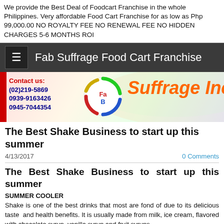We provide the Best Deal of Foodcart Franchise in the whole Philippines. Very affordable Food Cart Franchise for as low as Php 99,000.00 NO ROYALTY FEE NO RENEWAL FEE NO HIDDEN CHARGES 5-6 MONTHS ROI
Fab Suffrage Food Cart Franchise
[Figure (logo): Fab Suffrage Inc. logo banner with contact numbers (02)219-5869, 0939-9163426, 0945-7044354 and colorful circular logo with 'FaB' text]
The Best Shake Business to start up this summer
4/13/2017
0 Comments
The Best Shake Business to start up this summer
SUMMER COOLER
Shake is one of the best drinks that most are fond of due to its delicious taste  and health benefits. It is usually made from milk, ice cream, flavored with chocolate syrup, vanilla syrup and fruit syrups